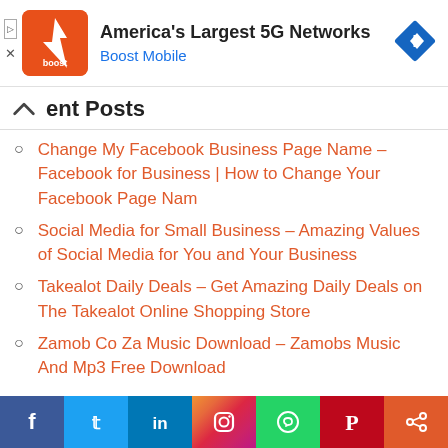[Figure (infographic): Boost Mobile advertisement banner with logo, text 'America's Largest 5G Networks' and 'Boost Mobile', and a blue navigation arrow icon.]
Recent Posts
Change My Facebook Business Page Name – Facebook for Business | How to Change Your Facebook Page Nam
Social Media for Small Business – Amazing Values of Social Media for You and Your Business
Takealot Daily Deals – Get Amazing Daily Deals on The Takealot Online Shopping Store
Zamob Co Za Music Download – Zamobs Music And Mp3 Free Download
Facebook, Twitter, LinkedIn, Instagram, WhatsApp, Pinterest, Share social buttons